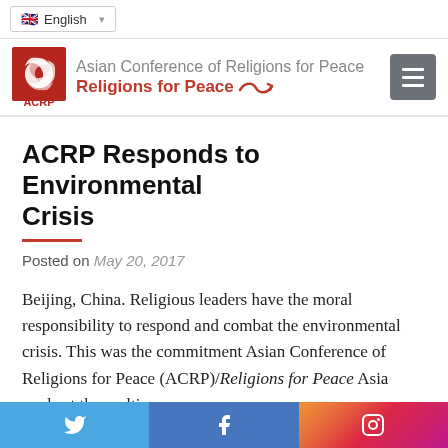English (language selector)
Asian Conference of Religions for Peace | Religions for Peace | ACRP
ACRP Responds to Environmental Crisis
Posted on May 20, 2017
Beijing, China. Religious leaders have the moral responsibility to respond and combat the environmental crisis. This was the commitment Asian Conference of Religions for Peace (ACRP)/Religions for Peace Asia made at the multi-
Twitter | Facebook | Instagram